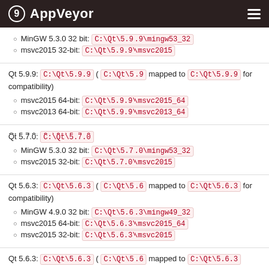AppVeyor
MinGW 5.3.0 32 bit: C:\Qt\5.9.9\mingw53_32
msvc2015 32-bit: C:\Qt\5.9.9\msvc2015
Qt 5.9.9: C:\Qt\5.9.9 ( C:\Qt\5.9 mapped to C:\Qt\5.9.9 for compatibility)
msvc2015 64-bit: C:\Qt\5.9.9\msvc2015_64
msvc2013 64-bit: C:\Qt\5.9.9\msvc2013_64
Qt 5.7.0: C:\Qt\5.7.0
MinGW 5.3.0 32 bit: C:\Qt\5.7.0\mingw53_32
msvc2015 32-bit: C:\Qt\5.7.0\msvc2015
Qt 5.6.3: C:\Qt\5.6.3 ( C:\Qt\5.6 mapped to C:\Qt\5.6.3 for compatibility)
MinGW 4.9.0 32 bit: C:\Qt\5.6.3\mingw49_32
msvc2015 64-bit: C:\Qt\5.6.3\msvc2015_64
msvc2015 32-bit: C:\Qt\5.6.3\msvc2015
Qt 5.6.3: C:\Qt\5.6.3 ( C:\Qt\5.6 mapped to C:\Qt\5.6.3